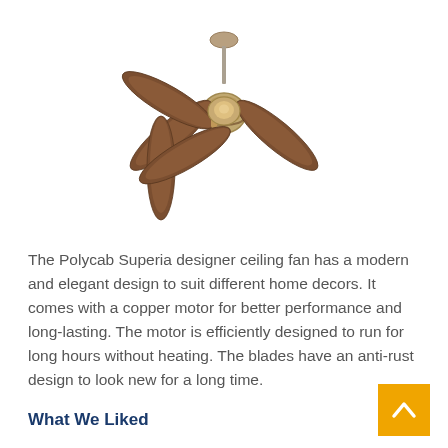[Figure (photo): A Polycab Superia designer ceiling fan with five dark walnut-colored blades and a brushed bronze/copper motor housing, photographed on a white background.]
The Polycab Superia designer ceiling fan has a modern and elegant design to suit different home decors. It comes with a copper motor for better performance and long-lasting. The motor is efficiently designed to run for long hours without heating. The blades have an anti-rust design to look new for a long time.
What We Liked